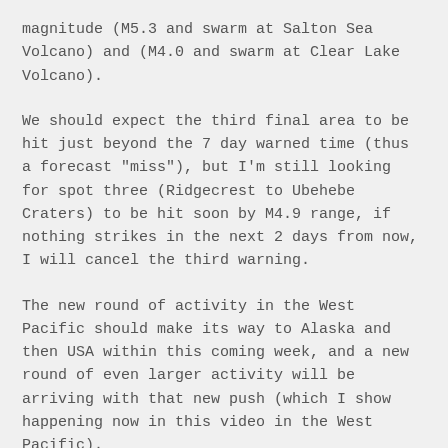magnitude (M5.3 and swarm at Salton Sea Volcano) and (M4.0 and swarm at Clear Lake Volcano).
We should expect the third final area to be hit just beyond the 7 day warned time (thus a forecast "miss"), but I'm still looking for spot three (Ridgecrest to Ubehebe Craters) to be hit soon by M4.9 range, if nothing strikes in the next 2 days from now, I will cancel the third warning.
The new round of activity in the West Pacific should make its way to Alaska and then USA within this coming week, and a new round of even larger activity will be arriving with that new push (which I show happening now in this video in the West Pacific).